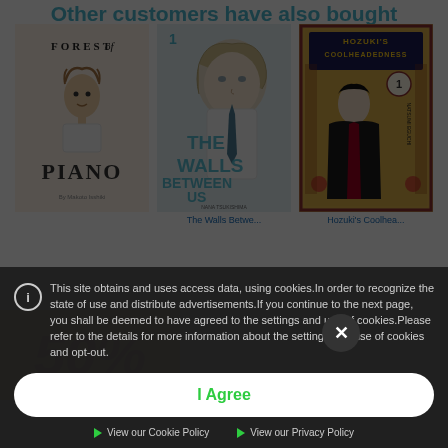Other customers have also bought
[Figure (illustration): Book cover: Forest of Piano - beige cover with illustrated child character in white shirt, large title text FOREST of PIANO]
[Figure (illustration): Book cover: The Walls Between Us vol.1 - manga cover with blonde male character, teal title text THE WALLS BETWEEN US]
[Figure (illustration): Book cover: Hozuki's Coolheadedness vol.1 - decorative border with Japanese motifs, dark-robed character, title HOZUKI'S COOLHEADEDNESS]
The Walls Betwe...
Hozuki's Coolhea...
[Figure (screenshot): Cookie consent overlay banner on dark background with info icon, cookie policy text, I Agree button, and links to Cookie Policy and Privacy Policy]
This site obtains and uses access data, using cookies.In order to recognize the state of use and distribute advertisements.If you continue to the next page, you shall be deemed to have agreed to the settings and use of cookies.Please refer to the details for more information about the settings and use of cookies and opt-out.
I Agree
View our Cookie Policy
View our Privacy Policy